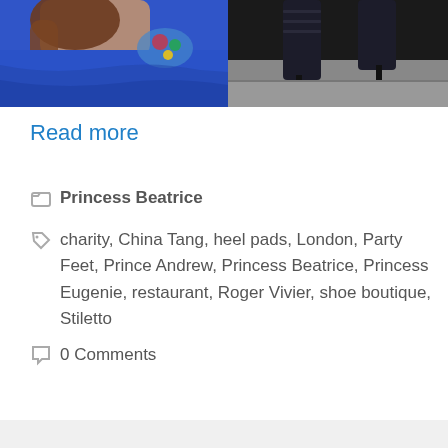[Figure (photo): Two photos side by side: left shows a woman in a blue dress with floral detail at shoulder, right shows legs/feet in black high heel stilettos on pavement]
Read more
Princess Beatrice
charity, China Tang, heel pads, London, Party Feet, Prince Andrew, Princess Beatrice, Princess Eugenie, restaurant, Roger Vivier, shoe boutique, Stiletto
0 Comments